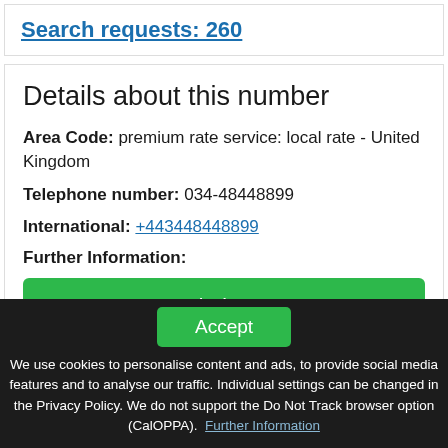Search requests: 260
Details about this number
Area Code: premium rate service: local rate - United Kingdom
Telephone number: 034-48448899
International: +443448448899
Further Information:
Find out
Accept
We use cookies to personalise content and ads, to provide social media features and to analyse our traffic. Individual settings can be changed in the Privacy Policy. We do not support the Do Not Track browser option (CalOPPA). Further Information